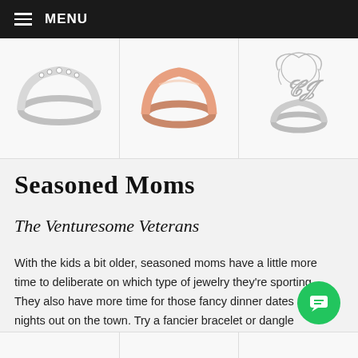MENU
[Figure (photo): Three jewelry rings displayed in a row: left - silver band with small diamond stones, center - rose gold plain band, right - silver script monogram ring]
Seasoned Moms
The Venturesome Veterans
With the kids a bit older, seasoned moms have a little more time to deliberate on which type of jewelry they're sporting. They also have more time for those fancy dinner dates and nights out on the town. Try a fancier bracelet or dangle earrings!
[Figure (photo): Bottom partial row of jewelry product images, similar layout to the top row]